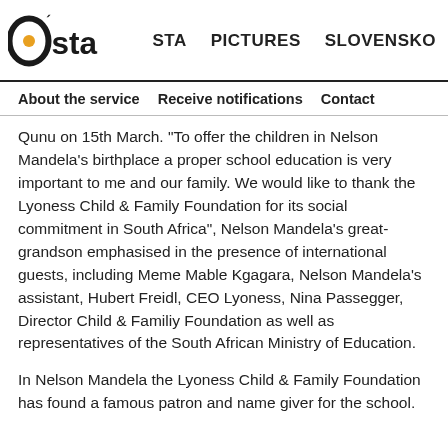osta  STA  PICTURES  SLOVENSKO
About the service  Receive notifications  Contact
Qunu on 15th March. "To offer the children in Nelson Mandela's birthplace a proper school education is very important to me and our family. We would like to thank the Lyoness Child & Family Foundation for its social commitment in South Africa", Nelson Mandela's great-grandson emphasised in the presence of international guests, including Meme Mable Kgagara, Nelson Mandela's assistant, Hubert Freidl, CEO Lyoness, Nina Passegger, Director Child & Familiy Foundation as well as representatives of the South African Ministry of Education.
In Nelson Mandela the Lyoness Child & Family Foundation has found a famous patron and name giver for the school.